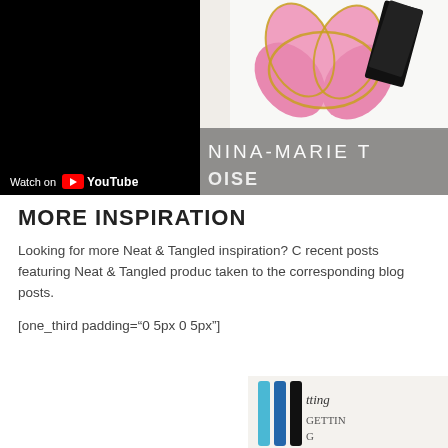[Figure (screenshot): Two-panel image strip at top. Left panel: YouTube video thumbnail with black background and 'Watch on YouTube' bar at bottom. Right panel: craft/card image showing pink flower with gold outline on white background, overlaid with semi-transparent gray banner showing 'NINA-MARIE T' text in white.]
MORE INSPIRATION
Looking for more Neat & Tangled inspiration? C recent posts featuring Neat & Tangled produc taken to the corresponding blog posts.
[one_third padding="0 5px 0 5px"]
[Figure (screenshot): Partial craft photo at bottom right showing markers/pens and handwritten text, partially cut off.]